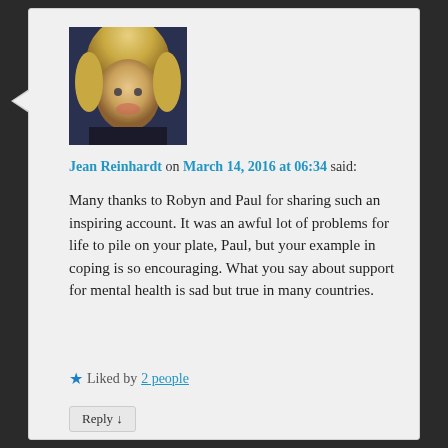Jean Reinhardt on March 14, 2016 at 06:34 said:
Many thanks to Robyn and Paul for sharing such an inspiring account. It was an awful lot of problems for life to pile on your plate, Paul, but your example in coping is so encouraging. What you say about support for mental health is sad but true in many countries.
Liked by 2 people
Reply ↓
Paul on March 14, 2016 at 18:03 said: